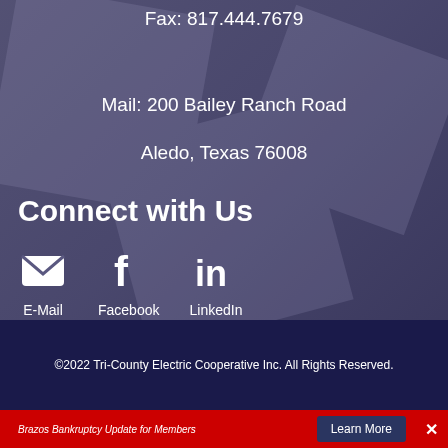Fax: 817.444.7679
Mail: 200 Bailey Ranch Road
Aledo, Texas 76008
Connect with Us
E-Mail
Facebook
LinkedIn
©2022 Tri-County Electric Cooperative Inc. All Rights Reserved.
Brazos Bankruptcy Update for Members
Learn More